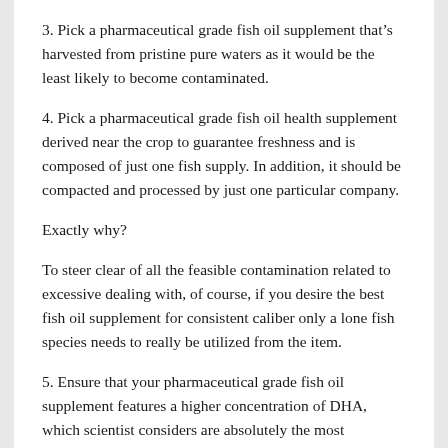3. Pick a pharmaceutical grade fish oil supplement that's harvested from pristine pure waters as it would be the least likely to become contaminated.
4. Pick a pharmaceutical grade fish oil health supplement derived near the crop to guarantee freshness and is composed of just one fish supply. In addition, it should be compacted and processed by just one particular company.
Exactly why?
To steer clear of all the feasible contamination related to excessive dealing with, of course, if you desire the best fish oil supplement for consistent caliber only a lone fish species needs to really be utilized from the item.
5. Ensure that your pharmaceutical grade fish oil supplement features a higher concentration of DHA, which scientist considers are absolutely the most beneficial component of fish oil.